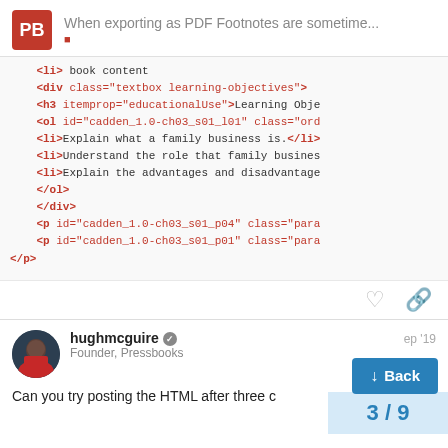When exporting as PDF Footnotes are sometime...
[Figure (screenshot): Code block showing HTML markup for a textbox with learning objectives, including div, h3, ol, li, and p elements with class and id attributes.]
hughmcguire — Founder, Pressbooks
Can you try posting the HTML after three c...
3 / 9